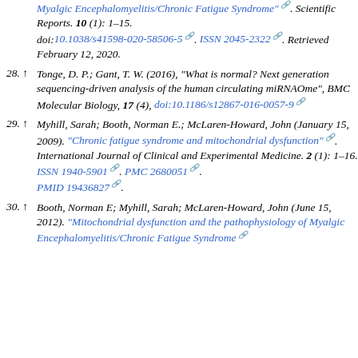Myalgic Encephalomyelitis/Chronic Fatigue Syndrome". Scientific Reports. 10 (1): 1–15. doi:10.1038/s41598-020-58506-5. ISSN 2045-2322. Retrieved February 12, 2020.
28. ^ Tonge, D. P.; Gant, T. W. (2016), "What is normal? Next generation sequencing-driven analysis of the human circulating miRNAOme", BMC Molecular Biology, 17 (4), doi:10.1186/s12867-016-0057-9
29. ^ Myhill, Sarah; Booth, Norman E.; McLaren-Howard, John (January 15, 2009). "Chronic fatigue syndrome and mitochondrial dysfunction". International Journal of Clinical and Experimental Medicine. 2 (1): 1–16. ISSN 1940-5901. PMC 2680051. PMID 19436827.
30. ^ Booth, Norman E; Myhill, Sarah; McLaren-Howard, John (June 15, 2012). "Mitochondrial dysfunction and the pathophysiology of Myalgic Encephalomyelitis/Chronic Fatigue Syndrome